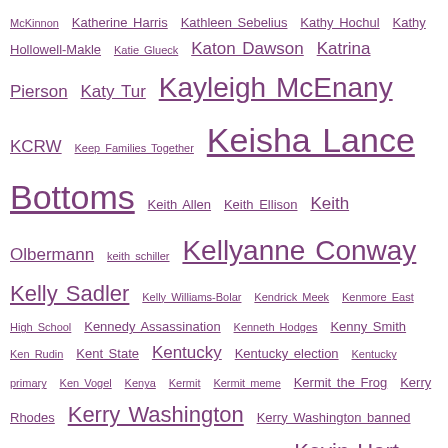McKinnon Katherine Harris Kathleen Sebelius Kathy Hochul Kathy Hollowell-Makle Katie Glueck Katon Dawson Katrina Pierson Katy Tur Kayleigh McEnany KCRW Keep Families Together Keisha Lance Bottoms Keith Allen Keith Ellison Keith Olbermann keith schiller Kellyanne Conway Kelly Sadler Kelly Williams-Bolar Kendrick Meek Kenmore East High School Kennedy Assassination Kenneth Hodges Kenny Smith Ken Rudin Kent State Kentucky Kentucky election Kentucky primary Ken Vogel Kenya Kermit Kermit meme Kermit the Frog Kerry Rhodes Kerry Washington Kerry Washington banned from White House Kevin Allen Kevin Costner Kevin Hart Kevin Johnson Kevin McCarthy Kevin Paul Scott Key & Peele Key and Peele Keystone Keystone XL pipeline Khadijah Baseer Khorasan Killer Mike Killer Mike uterus Killing Lincoln Kim Jong Il Kim Jong Un Kim Kardashian Kindle King v. Burwell King vs Burwell Kinki University Kirsten Dunst Kirsten Gillibrand Kirsten Haglund kiteboarding knock knock joke Kobe Bryant Koch Brothers Koch Industries Kristal Quarker Hartsfield Kristen Clarke Kristi Capel Kristi Noem Krystal Ball KTBS Ku Klux Klan KUOW KUT Kwame Jackson Kwame Nkrumah Kynan Crecelius Kyra Phillips L.Z. Ganderson Lacy Clay Lacy T Lady